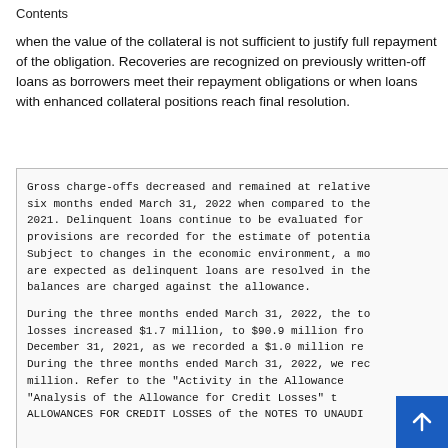Contents
when the value of the collateral is not sufficient to justify full repayment of the obligation. Recoveries are recognized on previously written-off loans as borrowers meet their repayment obligations or when loans with enhanced collateral positions reach final resolution.
Gross charge-offs decreased and remained at relative six months ended March 31, 2022 when compared to the 2021. Delinquent loans continue to be evaluated for provisions are recorded for the estimate of potentia Subject to changes in the economic environment, a mo are expected as delinquent loans are resolved in the balances are charged against the allowance.
During the three months ended March 31, 2022, the to losses increased $1.7 million, to $90.9 million fro December 31, 2021, as we recorded a $1.0 million re During the three months ended March 31, 2022, we rec million. Refer to the "Activity in the Allowance "Analysis of the Allowance for Credit Losses" t ALLOWANCES FOR CREDIT LOSSES of the NOTES TO UNAUDI